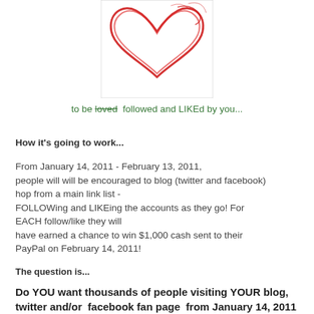[Figure (illustration): A hand-drawn red heart illustration on white background, partially visible at the top of the page]
to be loved  followed and LIKEd by you...
How it's going to work...
From January 14, 2011 - February 13, 2011, people will will be encouraged to blog (twitter and facebook) hop from a main link list - FOLLOWing and LIKEing the accounts as they go! For EACH follow/like they will have earned a chance to win $1,000 cash sent to their PayPal on February 14, 2011!
The question is...
Do YOU want thousands of people visiting YOUR blog, twitter and/or  facebook fan page  from January 14, 2011